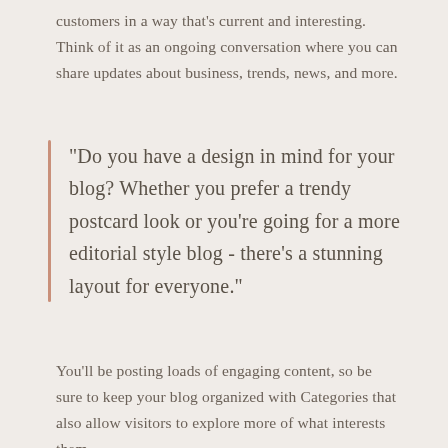customers in a way that's current and interesting. Think of it as an ongoing conversation where you can share updates about business, trends, news, and more.
“Do you have a design in mind for your blog? Whether you prefer a trendy postcard look or you’re going for a more editorial style blog - there’s a stunning layout for everyone.”
You’ll be posting loads of engaging content, so be sure to keep your blog organized with Categories that also allow visitors to explore more of what interests them.